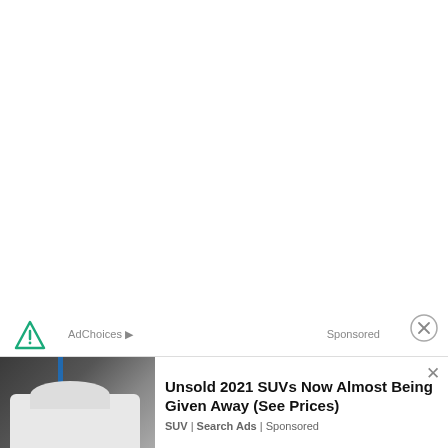[Figure (other): Large white/blank area taking up the top ~70% of the page]
AdChoices  |  Sponsored
[Figure (other): Advertisement banner: Unsold 2021 SUVs Now Almost Being Given Away (See Prices). SUV | Search Ads | Sponsored. Shows photo of white SUV in a garage with trunk open.]
Unsold 2021 SUVs Now Almost Being Given Away (See Prices)
SUV | Search Ads | Sponsored